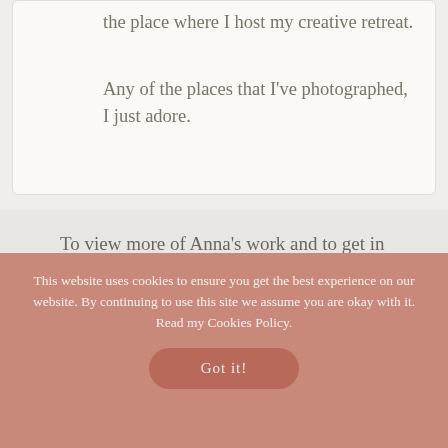the place where I host my creative retreat.
Any of the places that I've photographed, I just adore.
To view more of Anna's work and to get in touch with her you can visit her website here:
This website uses cookies to ensure you get the best experience on our website. By continuing to use this site we assume you are okay with it. Read my Cookies Policy.
Got it!